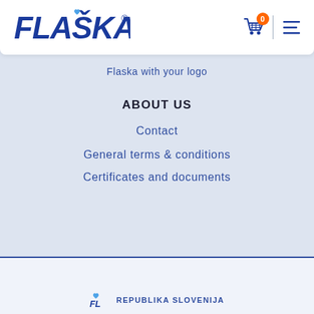[Figure (logo): FLASKA logo in bold dark blue italic text with a small heart above the letter A, and registered trademark symbol]
[Figure (illustration): Shopping cart icon with orange badge showing 0, and hamburger menu icon]
Flaska with your logo
ABOUT US
Contact
General terms & conditions
Certificates and documents
REPUBLIKA SLOVENIJA